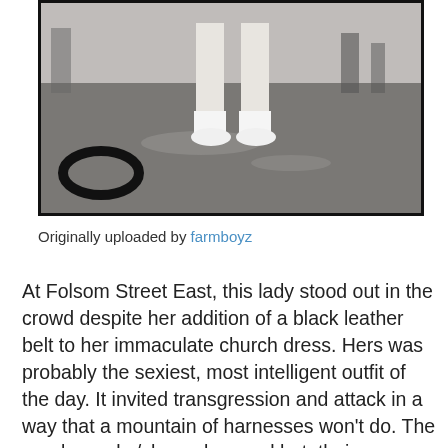[Figure (photo): Photo showing lower body/legs of a person wearing white socks and white shoes on a wet pavement surface, with a dark circular object visible on the ground.]
Originally uploaded by farmboyz
At Folsom Street East, this lady stood out in the crowd despite her addition of a black leather belt to her immaculate church dress. Hers was probably the sexiest, most intelligent outfit of the day. It invited transgression and attack in a way that a mountain of harnesses won't do. The pearls, socks/shoes, bag and hat, their meticulous whiteness, and the way she wore them, contained the essential and inflammatory elements of fetishism. One instantly wonders what she had on underneath it all, and if in the course of the day, anyone would finally have the sense to understand her wordless invitation to be violated, her pearls scattered on the wet pavement and rolling into the gutters as she gathers up